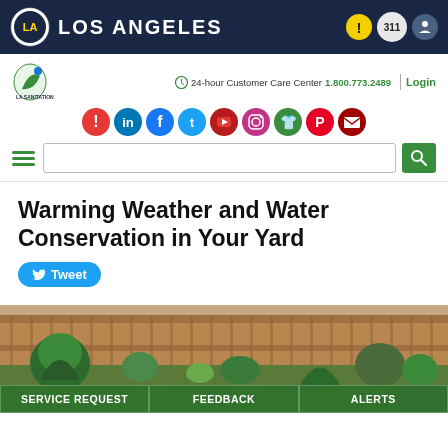LOS ANGELES
[Figure (logo): LA Sanitation logo with green leaf and water drop]
24-hour Customer Care Center 1.800.773.2489 | Login
[Figure (infographic): Social media icons: alert, LinkedIn, Facebook, Twitter, YouTube, Instagram, shirt/app, Pinterest, email]
Warming Weather and Water Conservation in Your Yard
[Figure (photo): Garden with drought-resistant plants, wooden fence background]
Tweet
SERVICE REQUEST | FEEDBACK | ALERTS